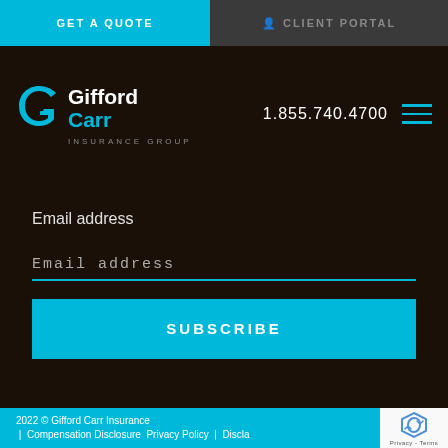GET A QUOTE  |  CLIENT PORTAL
[Figure (logo): Gifford Carr Insurance Group logo with stylized G icon in cyan on dark background, with phone number 1.855.740.4700 and hamburger menu icon]
Email address
Email address
SUBSCRIBE
2022 © Gifford Carr Insurance  |  Compensation Disclosure  Privacy Policy  |  Discla...